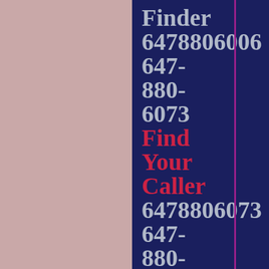Finder 6478806006 647-880-6073 Find Your Caller 6478806073 647-880-6043 Find Your Caller 6478806043